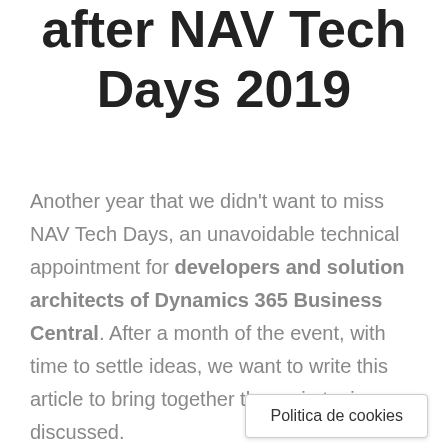after NAV Tech Days 2019
Another year that we didn't want to miss NAV Tech Days, an unavoidable technical appointment for developers and solution architects of Dynamics 365 Business Central. After a month of the event, with time to settle ideas, we want to write this article to bring together the main topics discussed.
The community is
Politica de cookies